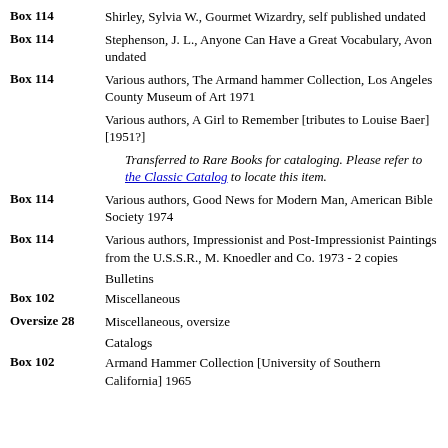Box 114 — Shirley, Sylvia W., Gourmet Wizardry, self published undated
Box 114 — Stephenson, J. L., Anyone Can Have a Great Vocabulary, Avon undated
Box 114 — Various authors, The Armand hammer Collection, Los Angeles County Museum of Art 1971
Various authors, A Girl to Remember [tributes to Louise Baer] [1951?]
Transferred to Rare Books for cataloging. Please refer to the Classic Catalog to locate this item.
Box 114 — Various authors, Good News for Modern Man, American Bible Society 1974
Box 114 — Various authors, Impressionist and Post-Impressionist Paintings from the U.S.S.R., M. Knoedler and Co. 1973 - 2 copies
Bulletins
Box 102 — Miscellaneous
Oversize 28 — Miscellaneous, oversize
Catalogs
Box 102 — Armand Hammer Collection [University of Southern California] 1965